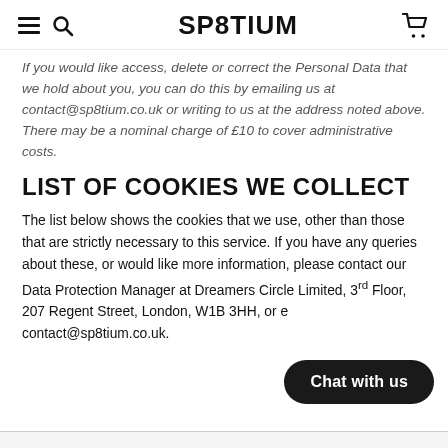SP8TIUM
If you would like access, delete or correct the Personal Data that we hold about you, you can do this by emailing us at contact@sp8tium.co.uk or writing to us at the address noted above. There may be a nominal charge of £10 to cover administrative costs.
LIST OF COOKIES WE COLLECT
The list below shows the cookies that we use, other than those that are strictly necessary to this service. If you have any queries about these, or would like more information, please contact our Data Protection Manager at Dreamers Circle Limited, 3rd Floor, 207 Regent Street, London, W1B 3HH, or email contact@sp8tium.co.uk.